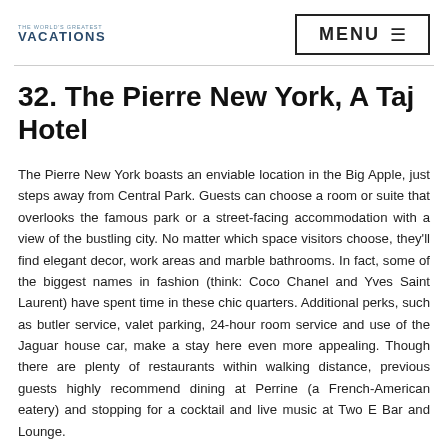THE WORLD'S GREATEST VACATIONS | MENU
32. The Pierre New York, A Taj Hotel
The Pierre New York boasts an enviable location in the Big Apple, just steps away from Central Park. Guests can choose a room or suite that overlooks the famous park or a street-facing accommodation with a view of the bustling city. No matter which space visitors choose, they'll find elegant decor, work areas and marble bathrooms. In fact, some of the biggest names in fashion (think: Coco Chanel and Yves Saint Laurent) have spent time in these chic quarters. Additional perks, such as butler service, valet parking, 24-hour room service and use of the Jaguar house car, make a stay here even more appealing. Though there are plenty of restaurants within walking distance, previous guests highly recommend dining at Perrine (a French-American eatery) and stopping for a cocktail and live music at Two E Bar and Lounge.